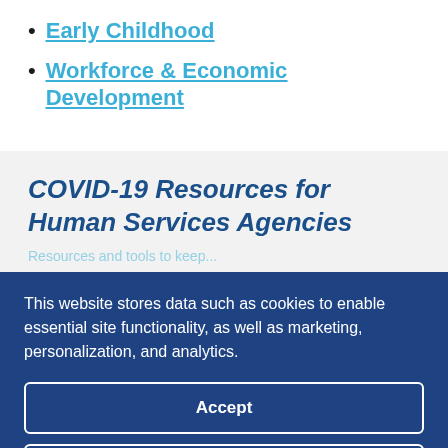Early Childhood
Workforce & Economic Development
COVID-19 Resources for Human Services Agencies
This website stores data such as cookies to enable essential site functionality, as well as marketing, personalization, and analytics.
Accept
Deny
What We Do